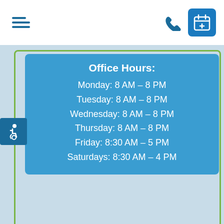Navigation bar with hamburger menu, phone icon, and calendar/appointment button
Office Hours:
Monday: 8 AM – 8 PM
Tuesday: 8 AM – 8 PM
Wednesday: 8 AM – 8 PM
Thursday: 8 AM – 8 PM
Friday: 8:30 AM – 5 PM
Saturdays: 8:30 AM – 4 PM
[Figure (illustration): Accessibility (wheelchair) icon in dark blue square]